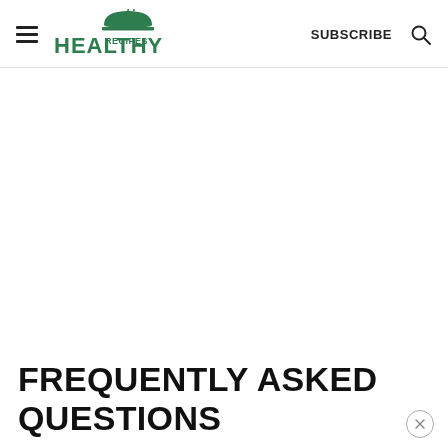HEALTHY RECIPES — SUBSCRIBE
FREQUENTLY ASKED QUESTIONS